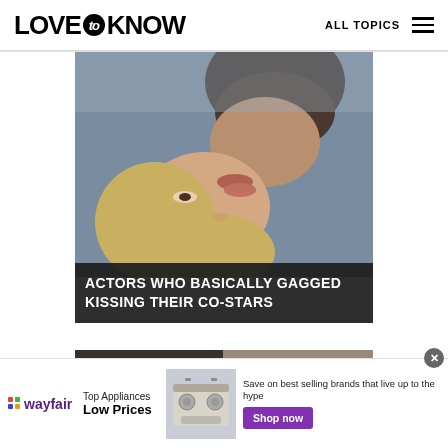LOVE to KNOW — ALL TOPICS
[Figure (photo): Two people kissing closely, one with blonde hair, romantic/dramatic scene]
ACTORS WHO BASICALLY GAGGED KISSING THEIR CO-STARS
[Figure (photo): Two people's faces shown in close-up, side by side]
[Figure (photo): Wayfair advertisement showing a stove/range appliance]
Top Appliances Low Prices
Save on best selling brands that live up to the hype
Shop now